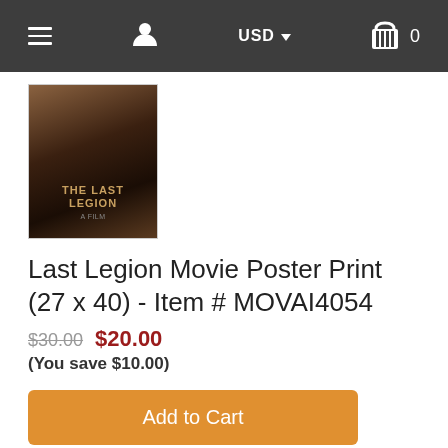Navigation bar with menu, user, USD currency selector, and cart (0 items)
[Figure (photo): Thumbnail of The Last Legion movie poster — dark fantasy image with golden title text]
Last Legion Movie Poster Print (27 x 40) - Item # MOVAI4054
$30.00 $20.00
(You save $10.00)
Add to Cart
Add a Frame or Canvas!
Add to Wish list